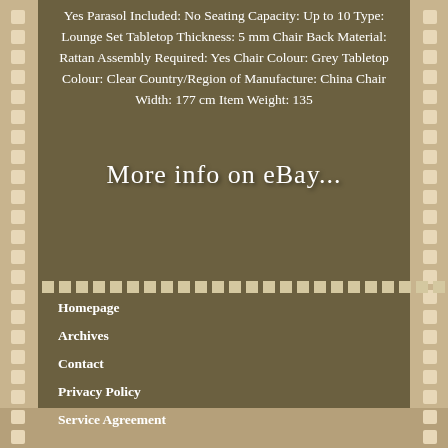Yes Parasol Included: No Seating Capacity: Up to 10 Type: Lounge Set Tabletop Thickness: 5 mm Chair Back Material: Rattan Assembly Required: Yes Chair Colour: Grey Tabletop Colour: Clear Country/Region of Manufacture: China Chair Width: 177 cm Item Weight: 135
[Figure (other): More info on eBay... link button with decorative cursive text on olive/khaki background]
Homepage
Archives
Contact
Privacy Policy
Service Agreement